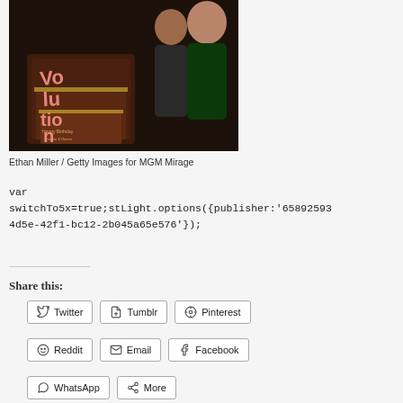[Figure (photo): Photo of people posing next to a large decorated birthday cake with 'REVOLUTION' text and 'Happy Birthday' writing, at an MGM Mirage event.]
Ethan Miller / Getty Images for MGM Mirage
var
switchTo5x=true;stLight.options({publisher:'658925934d5e-42f1-bc12-2b045a65e576'});
Share this:
Twitter
Tumblr
Pinterest
Reddit
Email
Facebook
WhatsApp
More